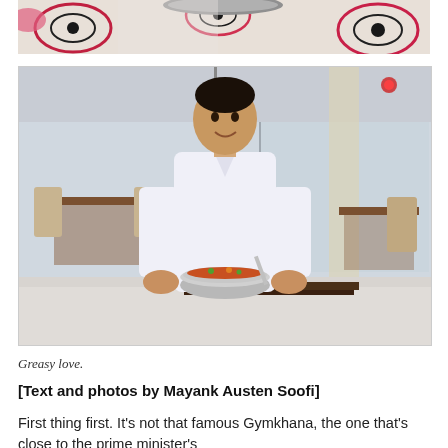[Figure (photo): Partial top view of a decorative fabric or surface with floral/circular patterns in pink, red and black on white background — appears cropped at top of page]
[Figure (photo): A young man in a white shirt stands smiling in a restaurant interior, holding a steel bowl of food. Restaurant tables and chairs visible in background.]
Greasy love.
[Text and photos by Mayank Austen Soofi]
First thing first. It's not that famous Gymkhana, the one that's close to the prime minister's